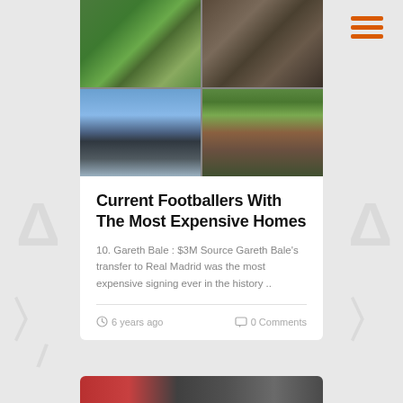[Figure (photo): 2x2 grid of architectural/aerial photos showing expensive footballer homes — top-left: aerial view of circular/flower-shaped building with green roof, top-right: aerial view of cylindrical multi-story building, bottom-left: modern glass house reflected in water, bottom-right: aerial view of curved multi-story building with green surroundings]
Current Footballers With The Most Expensive Homes
10. Gareth Bale : $3M Source Gareth Bale's transfer to Real Madrid was the most expensive signing ever in the history ..
6 years ago
0 Comments
[Figure (photo): Partial view of a second article card showing a colorful image at the bottom of the page]